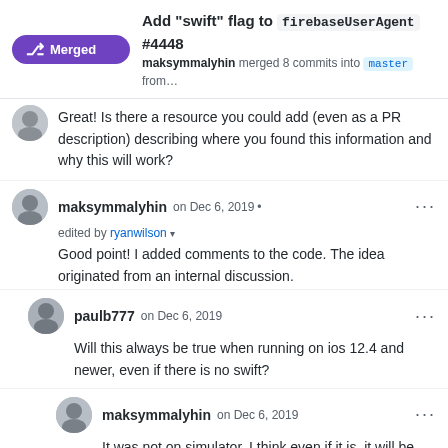Add "swift" flag to firebaseUserAgent #4448 — maksymmalyhin merged 8 commits into master from...
Great! Is there a resource you could add (even as a PR description) describing where you found this information and why this will work?
maksymmalyhin on Dec 6, 2019 • edited by ryanwilson
Good point! I added comments to the code. The idea originated from an internal discussion.
paulb777 on Dec 6, 2019
Will this always be true when running on ios 12.4 and newer, even if there is no swift?
maksymmalyhin on Dec 6, 2019
It was not on simulator. I think even if it is, it will be fine. I assume, the main question we would like to answer is "how many applications/devices